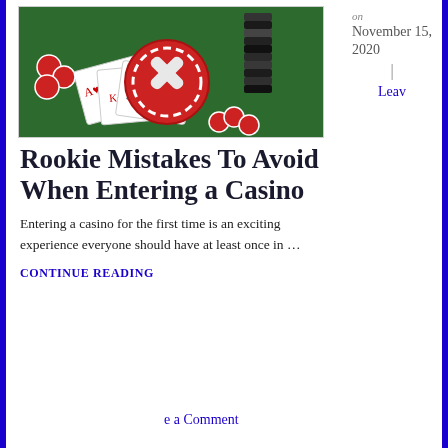[Figure (photo): Casino scene with poker chips and a red circle with X mark on playing cards on a green felt table]
on November 15, 2020
Leave a Comment
Rookie Mistakes To Avoid When Entering a Casino
Entering a casino for the first time is an exciting experience everyone should have at least once in …
CONTINUE READING